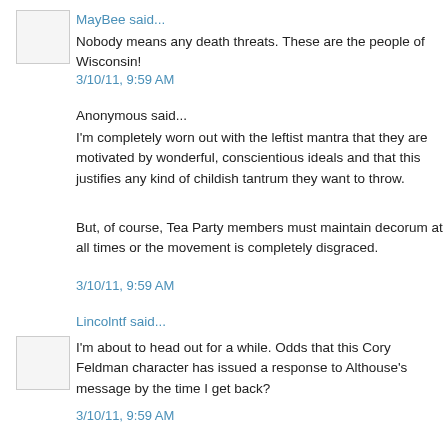MayBee said...
Nobody means any death threats. These are the people of Wisconsin!
3/10/11, 9:59 AM
Anonymous said...
I'm completely worn out with the leftist mantra that they are motivated by wonderful, conscientious ideals and that this justifies any kind of childish tantrum they want to throw.
But, of course, Tea Party members must maintain decorum at all times or the movement is completely disgraced.
3/10/11, 9:59 AM
Lincolntf said...
I'm about to head out for a while. Odds that this Cory Feldman character has issued a response to Althouse's message by the time I get back?
3/10/11, 9:59 AM